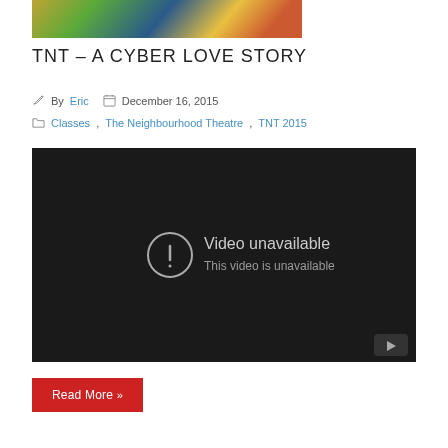[Figure (illustration): Partial view of a colorful illustrated artwork at the top of the page]
TNT – A CYBER LOVE STORY
By Eric   December 16, 2015
Classes, The Neighbourhood Theatre, TNT 2015
[Figure (screenshot): Embedded video player showing 'Video unavailable - This video is unavailable' message on a dark background with YouTube logo]
Read More »